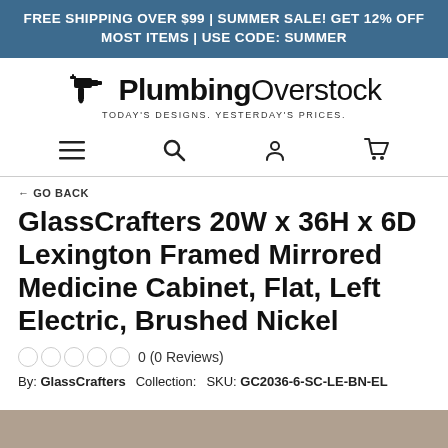FREE SHIPPING OVER $99 | SUMMER SALE! GET 12% OFF MOST ITEMS | USE CODE: SUMMER
[Figure (logo): PlumbingOverstock logo with faucet icon and tagline: TODAY'S DESIGNS. YESTERDAY'S PRICES.]
[Figure (infographic): Navigation icons: hamburger menu, search, account, cart]
← GO BACK
GlassCrafters 20W x 36H x 6D Lexington Framed Mirrored Medicine Cabinet, Flat, Left Electric, Brushed Nickel
0 (0 Reviews)
By: GlassCrafters   Collection:   SKU: GC2036-6-SC-LE-BN-EL